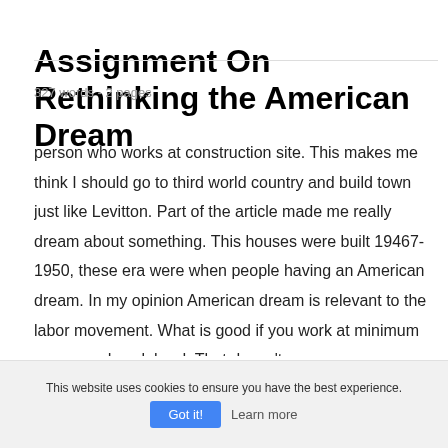Assignment On Rethinking the American Dream
327 words - 2 pages
person who works at construction site. This makes me think I should go to third world country and build town just like Levitton. Part of the article made me really dream about something. This houses were built 19467-1950, these era were when people having an American dream. In my opinion American dream is relevant to the labor movement. What is good if you work at minimum wages and work hard. That doesn't
This website uses cookies to ensure you have the best experience.